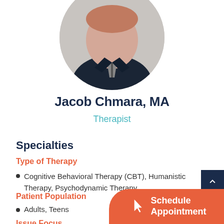[Figure (photo): Circular profile photo of Jacob Chmara, a young man wearing a dark navy zip-up jacket against a light grey background]
Jacob Chmara, MA
Therapist
Specialties
Type of Therapy
Cognitive Behavioral Therapy (CBT), Humanistic Therapy, Psychodynamic Therapy
Patient Population
Adults, Teens
Issue Focus
ADHD, Anxiety, Self Esteem...